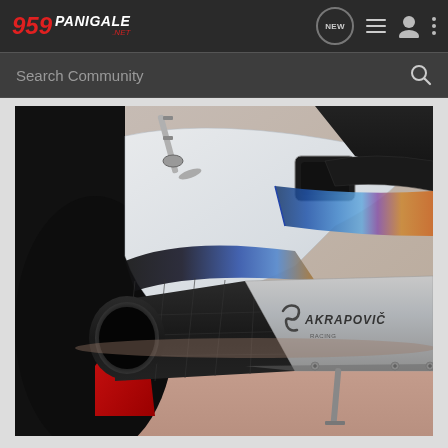959panigale.net — Navigation bar with logo, NEW, list, user, and menu icons
Search Community
[Figure (photo): Close-up photograph of an Akrapovic exhaust system on a Ducati 959 Panigale motorcycle. Shows the carbon fiber and titanium muffler with the Akrapovic logo and branding, heat-discolored titanium exhaust pipe in blue/purple/gold tones, white fairing panel with cutouts, and the ground below.]